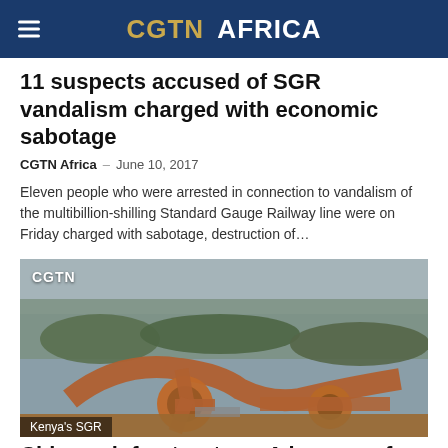CGTN AFRICA
11 suspects accused of SGR vandalism charged with economic sabotage
CGTN Africa - June 10, 2017
Eleven people who were arrested in connection to vandalism of the multibillion-shilling Standard Gauge Railway line were on Friday charged with sabotage, destruction of...
[Figure (photo): Aerial view of Kenya's Standard Gauge Railway (SGR) road interchange with red earth and green vegetation, CGTN watermark visible top left, caption 'Kenya's SGR' at bottom left]
Chinese infrastructure: A beacon of hope